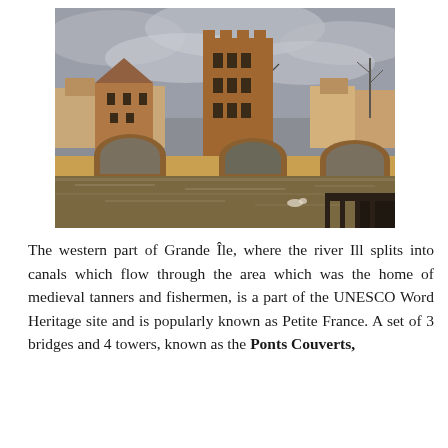[Figure (photo): Photograph of the Ponts Couverts area in Strasbourg, France. Medieval stone towers and covered bridges over the Ill river. Overcast sky, bare trees in background, old buildings visible. Water reflects the bridge structure.]
The western part of Grande Île, where the river Ill splits into canals which flow through the area which was the home of medieval tanners and fishermen, is a part of the UNESCO Word Heritage site and is popularly known as Petite France. A set of 3 bridges and 4 towers, known as the Ponts Couverts,